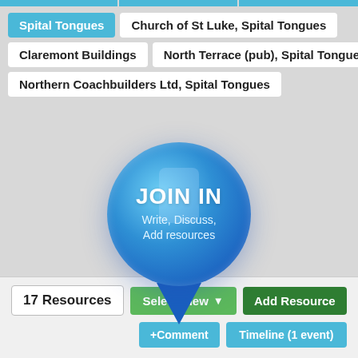Spital Tongues
Church of St Luke, Spital Tongues
Claremont Buildings
North Terrace (pub), Spital Tongues
Northern Coachbuilders Ltd, Spital Tongues
[Figure (illustration): A large blue map pin / location marker button with 'JOIN IN' in bold white text and 'Write, Discuss, Add resources' below it, on a light grey background.]
17 Resources
Select View ▾
Add Resource
+Comment
Timeline (1 event)